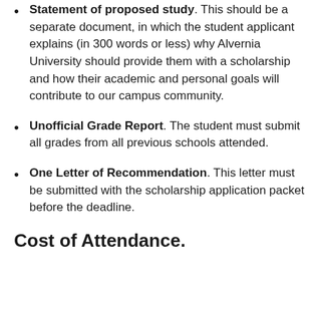Statement of proposed study. This should be a separate document, in which the student applicant explains (in 300 words or less) why Alvernia University should provide them with a scholarship and how their academic and personal goals will contribute to our campus community.
Unofficial Grade Report. The student must submit all grades from all previous schools attended.
One Letter of Recommendation. This letter must be submitted with the scholarship application packet before the deadline.
Cost of Attendance.